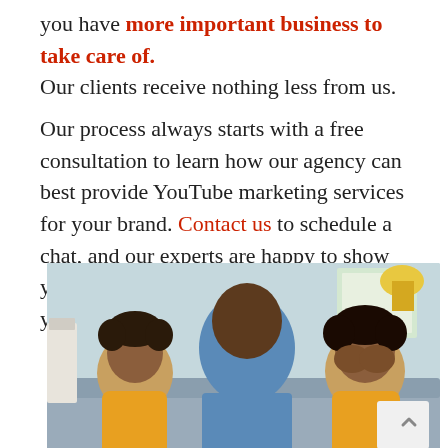you have more important business to take care of. Our clients receive nothing less from us.
Our process always starts with a free consultation to learn how our agency can best provide YouTube marketing services for your brand. Contact us to schedule a chat, and our experts are happy to show you how YouTube ads will transform your business.
[Figure (photo): A man sitting on a couch with two young boys, one covering his face with his hands and the other looking sad. The man appears to be comforting them. Indoor setting with warm tones.]